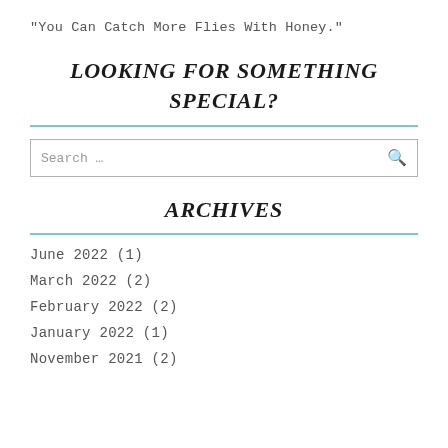"You Can Catch More Flies With Honey."
LOOKING FOR SOMETHING SPECIAL?
Search …
ARCHIVES
June 2022 (1)
March 2022 (2)
February 2022 (2)
January 2022 (1)
November 2021 (2)